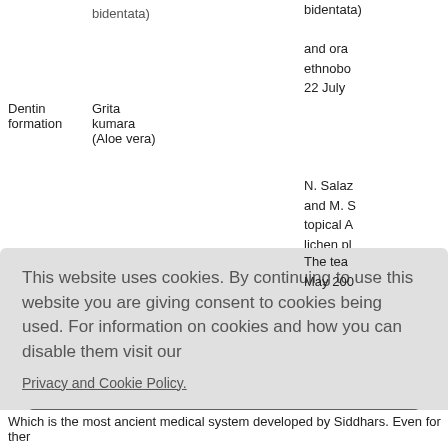|  |  |  |
| --- | --- | --- |
|  | bidentata) | and ora ethnobo 22 July |
| Dentin formation | Grita kumara (Aloe vera) | N. Salaz and M. S topical A lichen p blind st and med 735–740 |
The tea May 200
This website uses cookies. By continuing to use this website you are giving consent to cookies being used. For information on cookies and how you can disable them visit our
Privacy and Cookie Policy.
AGREE & PROCEED
Which is the most ancient medical system developed by Siddhars. Even for ther